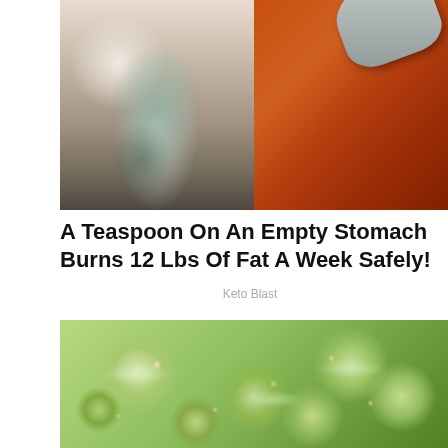[Figure (photo): Split image: left side shows a fit woman in athletic wear with visible abs, right side shows a spoonful of reddish-brown spice/powder]
A Teaspoon On An Empty Stomach Burns 12 Lbs Of Fat A Week Safely!
Keto Blast
[Figure (photo): Close-up photo of sliced cucumbers seasoned with garlic and spices]